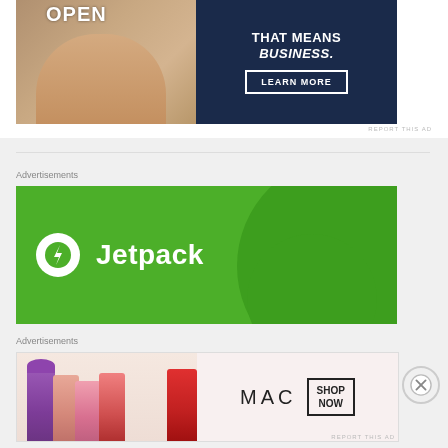[Figure (photo): Advertisement banner split in two halves: left shows a person holding an OPEN sign (photo), right is dark navy blue with text 'THAT MEANS BUSINESS.' and a 'LEARN MORE' button]
REPORT THIS AD
Advertisements
[Figure (logo): Jetpack advertisement: green background with large white circle logo containing a lightning bolt, and white text 'Jetpack']
Advertisements
[Figure (photo): MAC cosmetics advertisement showing colorful lipsticks on the left, MAC brand name in center, and a 'SHOP NOW' button box on the right]
REPORT THIS AD